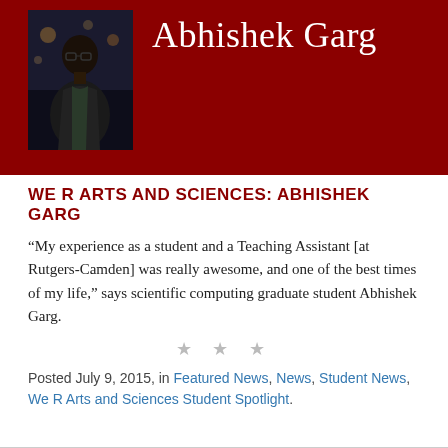[Figure (photo): Banner image with dark red background, a photo of Abhishek Garg on the left, his name in white serif text to the right, and large semi-transparent watermark text 'We R Arts and Sciences' across the bottom.]
WE R ARTS AND SCIENCES: ABHISHEK GARG
“My experience as a student and a Teaching Assistant [at Rutgers-Camden] was really awesome, and one of the best times of my life,” says scientific computing graduate student Abhishek Garg.
★ ★ ★
Posted July 9, 2015, in Featured News, News, Student News, We R Arts and Sciences Student Spotlight.